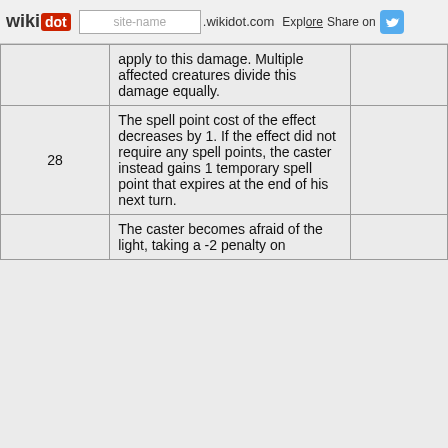wikidot | site-name .wikidot.com | Explore | Share on
|  |  |  |
| --- | --- | --- |
|  | apply to this damage. Multiple affected creatures divide this damage equally. |  |
| 28 | The spell point cost of the effect decreases by 1. If the effect did not require any spell points, the caster instead gains 1 temporary spell point that expires at the end of his next turn. |  |
|  | The caster becomes afraid of the light, taking a -2 penalty on |  |